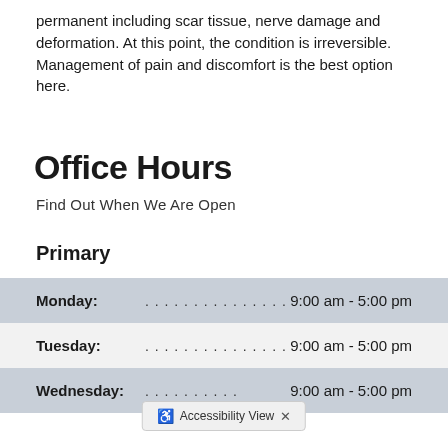permanent including scar tissue, nerve damage and deformation. At this point, the condition is irreversible. Management of pain and discomfort is the best option here.
Office Hours
Find Out When We Are Open
Primary
| Day | Hours |
| --- | --- |
| Monday: | 9:00 am - 5:00 pm |
| Tuesday: | 9:00 am - 5:00 pm |
| Wednesday: | 9:00 am - 5:00 pm |